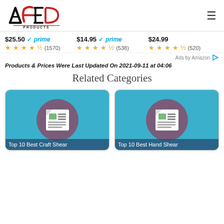[Figure (logo): ACED Products logo with stylized text]
$25.50 ✓prime ★★★★½ (1570)
$14.95 ✓prime ★★★★½ (538)
$24.99 ★★★★½ (520)
Ads by Amazon
Products & Prices Were Last Updated On 2021-09-11 at 04:06
Related Categories
[Figure (illustration): Top 10 Best Craft Shear category card with article icon on teal background]
[Figure (illustration): Top 10 Best Hand Shear category card with article icon on teal background]